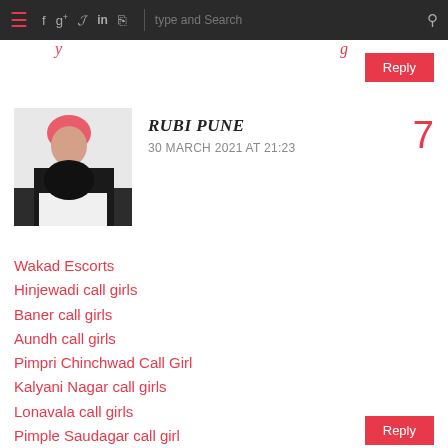Navigation bar with hamburger menu, social icons (f, g+, twitter, linkedin, rss), search field
RUBI PUNE
30 MARCH 2021 AT 21:23
[Figure (photo): Avatar photo of a person in black and white outfit with pink hair accessory]
Wakad Escorts
Hinjewadi call girls
Baner call girls
Aundh call girls
Pimpri Chinchwad Call Girl
Kalyani Nagar call girls
Lonavala call girls
Pimple Saudagar call girl